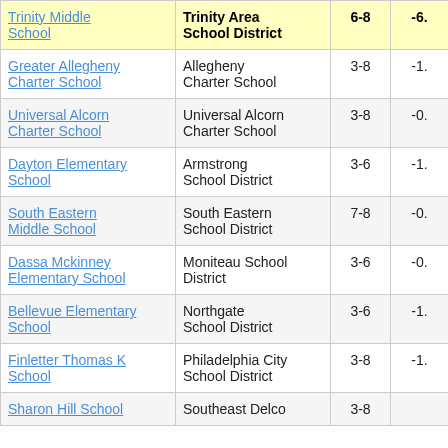| School | District | Grades | Score |
| --- | --- | --- | --- |
| Trinity Middle School | Trinity Area School District | 6-8 | -6. |
| Greater Allegheny Charter School | Allegheny Charter School | 3-8 | -1. |
| Universal Alcorn Charter School | Universal Alcorn Charter School | 3-8 | -0. |
| Dayton Elementary School | Armstrong School District | 3-6 | -1. |
| South Eastern Middle School | South Eastern School District | 7-8 | -0. |
| Dassa Mckinney Elementary School | Moniteau School District | 3-6 | -0. |
| Bellevue Elementary School | Northgate School District | 3-6 | -1. |
| Finletter Thomas K School | Philadelphia City School District | 3-8 | -1. |
| Sharon Hill School | Southeast Delco | 3-8 |  |